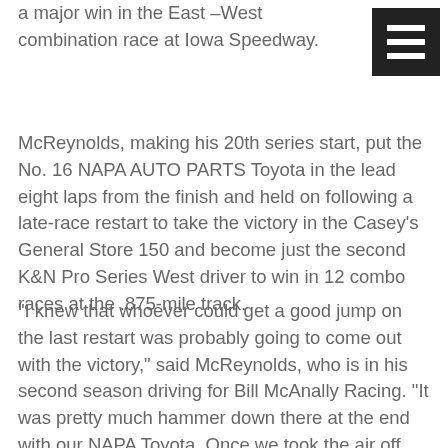a major win in the East–West combination race at Iowa Speedway.
McReynolds, making his 20th series start, put the No. 16 NAPA AUTO PARTS Toyota in the lead eight laps from the finish and held on following a late-race restart to take the victory in the Casey's General Store 150 and become just the second K&N Pro Series West driver to win in 12 combo races at the .875-mile track.
“I knew that whoever could get a good jump on the last restart was probably going to come out with the victory,” said McReynolds, who is in his second season driving for Bill McAnally Racing. “It was pretty much hammer down there at the end with our NAPA Toyota. Once we took the air off the (No.) 9 and got that good run down the back I knew that we were going to be in pretty good shape.”